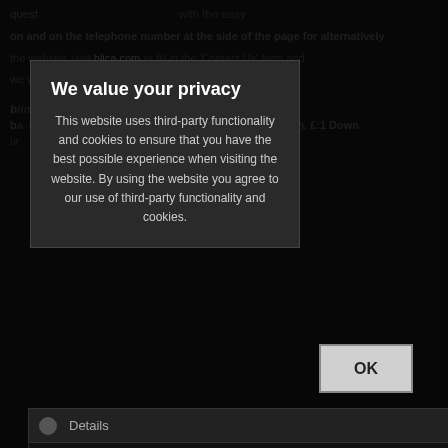Background page content with partial text visible behind privacy overlay. Includes links and body text about telephone numbers, contact details, and company information.
We value your privacy

This website uses third-party functionality and cookies to ensure that you have the best possible experience when visiting the website. By using the website you agree to our use of third-party functionality and cookies.
OK